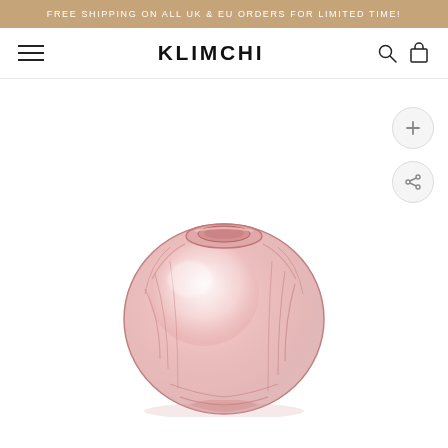FREE SHIPPING ON ALL UK & EU ORDERS FOR LIMITED TIME!
KLIMCHI
[Figure (photo): Round pink glass vase with faceted/sculpted surface, translucent pink color, wide body with small opening at top, photographed on white background]